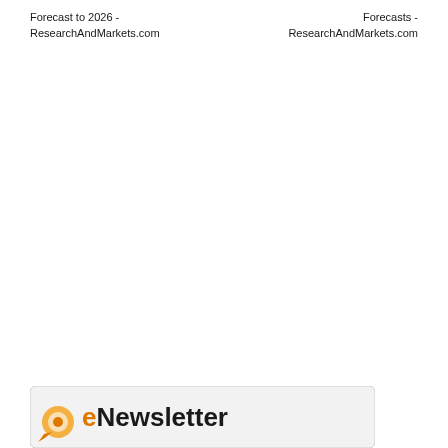Forecast to 2026 - ResearchAndMarkets.com
Forecasts - ResearchAndMarkets.com
[Figure (logo): eNewsletter logo with orange arrow/pin icon and styled text on a light grey rounded rectangle background]